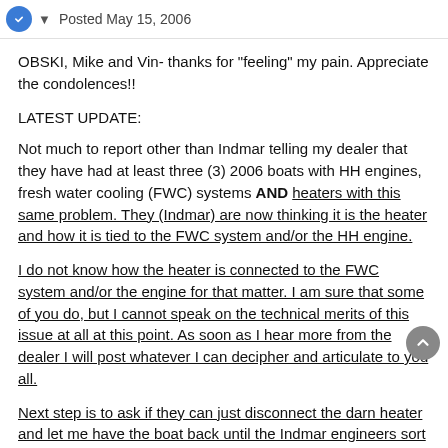Posted May 15, 2006
OBSKI, Mike and Vin- thanks for "feeling" my pain. Appreciate the condolences!!
LATEST UPDATE:
Not much to report other than Indmar telling my dealer that they have had at least three (3) 2006 boats with HH engines, fresh water cooling (FWC) systems AND heaters with this same problem. They (Indmar) are now thinking it is the heater and how it is tied to the FWC system and/or the HH engine.
I do not know how the heater is connected to the FWC system and/or the engine for that matter. I am sure that some of you do, but I cannot speak on the technical merits of this issue at all at this point. As soon as I hear more from the dealer I will post whatever I can decipher and articulate to you all.
Next step is to ask if they can just disconnect the darn heater and let me have the boat back until the Indmar engineers sort it all out.
Thanks to those of you that have provided feedback, it is nice to